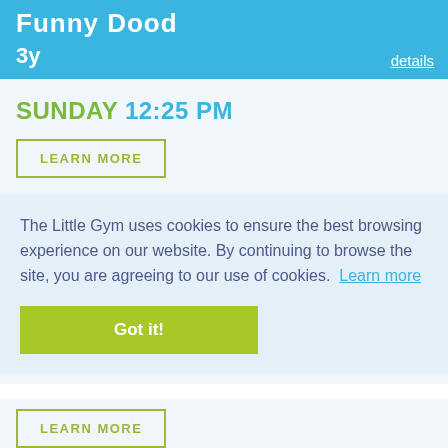Funny Dood
3y
details
SUNDAY 12:25 PM
LEARN MORE
The Little Gym uses cookies to ensure the best browsing experience on our website. By continuing to browse the site, you are agreeing to our use of cookies. Learn more
Got it!
LEARN MORE